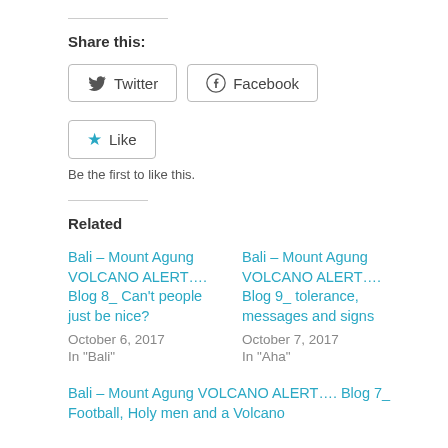Share this:
Twitter Facebook
Like
Be the first to like this.
Related
Bali – Mount Agung VOLCANO ALERT…. Blog 8_ Can't people just be nice?
October 6, 2017
In "Bali"
Bali – Mount Agung VOLCANO ALERT…. Blog 9_ tolerance, messages and signs
October 7, 2017
In "Aha"
Bali – Mount Agung VOLCANO ALERT…. Blog 7_ Football, Holy men and a Volcano